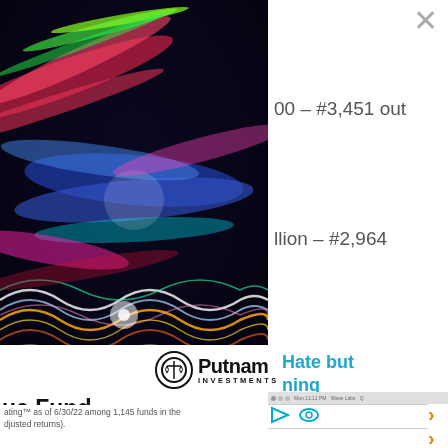[Figure (photo): Abstract colorful light streaks photograph — neon colors (red, blue, green, yellow, white) with wavy light trails on dark background, resembling DNA strands or fiber optics]
00 — #3,451 out
llion — #2,964
ion — #2,809 out
[Figure (logo): Putnam Investments logo — circular balance scale icon with text 'Putnam INVESTMENTS']
Hate but
ning
ue Fund PEIYX
ating™ as of 6/30/22 among 1,145 funds in the djusted returns).